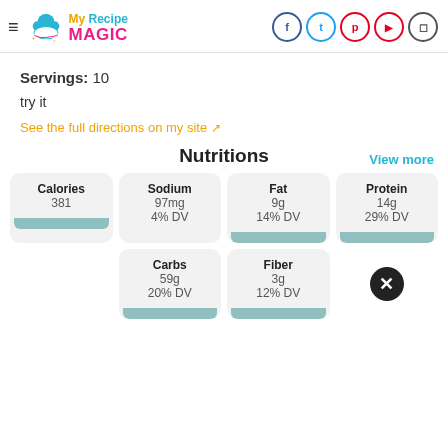My Recipe Magic
Servings: 10
try it
See the full directions on my site
Nutritions
View more
| Nutrient | Amount | DV |
| --- | --- | --- |
| Calories | 381 |  |
| Sodium | 97mg | 4% DV |
| Fat | 9g | 14% DV |
| Protein | 14g | 29% DV |
| Carbs | 59g | 20% DV |
| Fiber | 3g | 12% DV |